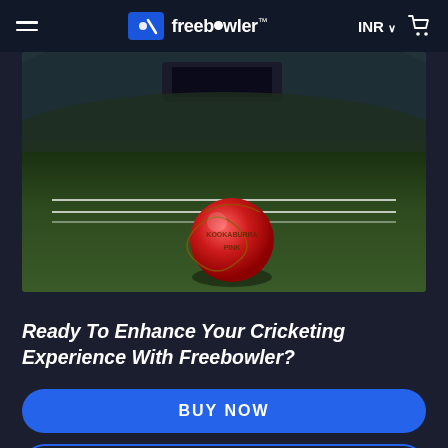freebowler — INR — Cart
[Figure (photo): Close-up photograph of a pink/red Kookaburra cricket ball on green grass with a cricket stadium in the background]
Ready To Enhance Your Cricketing Experience With Freebowler?
BUY NOW
LEARN MORE